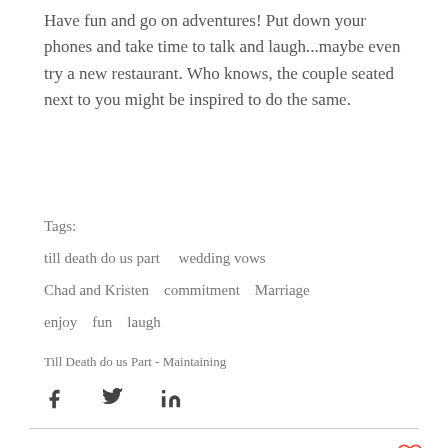Have fun and go on adventures!  Put down your phones and take time to talk and laugh...maybe even try a new restaurant.  Who knows, the couple seated next to you might be inspired to do the same.
Tags:
till death do us part    wedding vows
Chad and Kristen    commitment    Marriage
enjoy    fun    laugh
Till Death do us Part - Maintaining
[Figure (infographic): Social share icons: Facebook (f), Twitter (bird), LinkedIn (in)]
[Figure (illustration): Heart/like icon outline in red at bottom right]